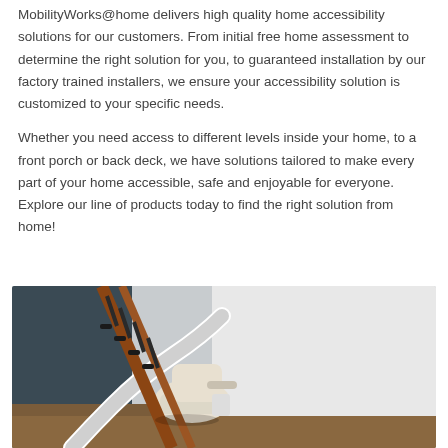MobilityWorks@home delivers high quality home accessibility solutions for our customers. From initial free home assessment to determine the right solution for you, to guaranteed installation by our factory trained installers, we ensure your accessibility solution is customized to your specific needs.
Whether you need access to different levels inside your home, to a front porch or back deck, we have solutions tailored to make every part of your home accessible, safe and enjoyable for everyone. Explore our line of products today to find the right solution from home!
[Figure (photo): Photo of a stairlift chair at the bottom of a curved staircase, with wooden banister and metal rails visible, installed in a home interior.]